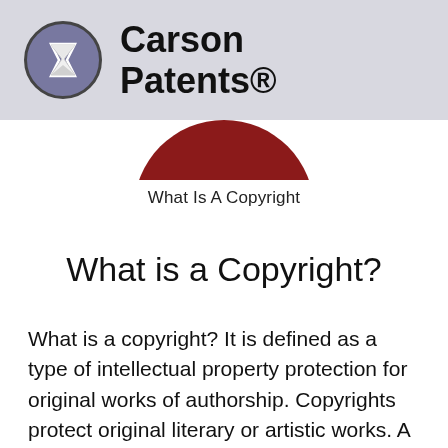Carson Patents®
[Figure (illustration): Bottom portion of a red circular emblem or seal, cropped at top]
What Is A Copyright
What is a Copyright?
What is a copyright? It is defined as a type of intellectual property protection for original works of authorship. Copyrights protect original literary or artistic works. A copyright is the exclusive legal right given to an originator (or an assignee) to print, publish, perform, film, or record literary, artistic, or musical material, and to authorize others to do the same.